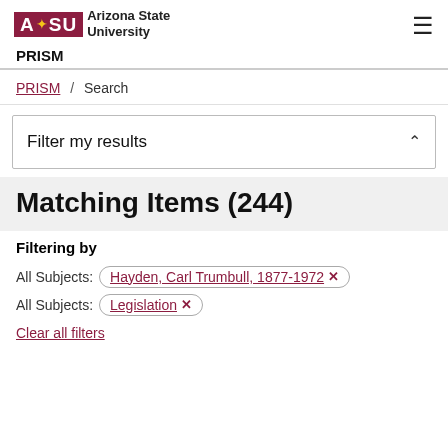ASU Arizona State University | PRISM
PRISM / Search
Filter my results
Matching Items (244)
Filtering by
All Subjects: Hayden, Carl Trumbull, 1877-1972 ×
All Subjects: Legislation ×
Clear all filters